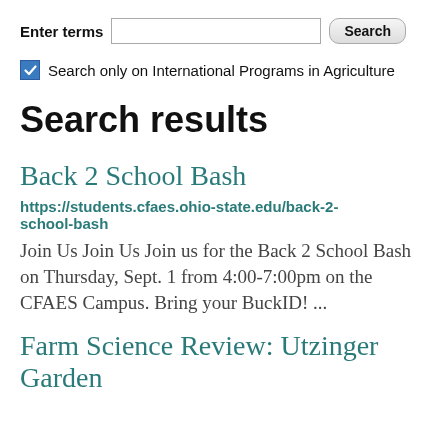Enter terms [input] Search
Search only on International Programs in Agriculture
Search results
Back 2 School Bash
https://students.cfaes.ohio-state.edu/back-2-school-bash
Join Us Join Us Join us for the Back 2 School Bash on Thursday, Sept. 1 from 4:00-7:00pm on the CFAES Campus. Bring your BuckID! ...
Farm Science Review: Utzinger Garden